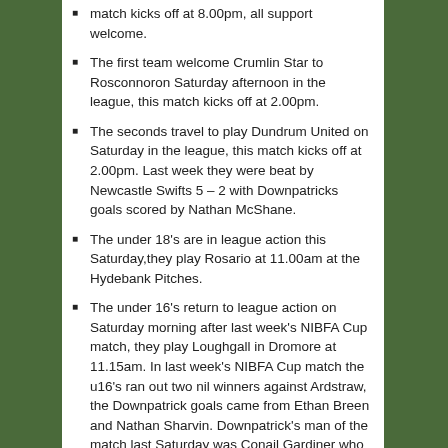match kicks off at 8.00pm, all support welcome.
The first team welcome Crumlin Star to Rosconnoron Saturday afternoon in the league, this match kicks off at 2.00pm.
The seconds travel to play Dundrum United on Saturday in the league, this match kicks off at 2.00pm. Last week they were beat by Newcastle Swifts 5 – 2 with Downpatricks goals scored by Nathan McShane.
The under 18's are in league action this Saturday,they play Rosario at 11.00am at the Hydebank Pitches.
The under 16's return to league action on Saturday morning after last week's NIBFA Cup match, they play Loughgall in Dromore at 11.15am. In last week's NIBFA Cup match the u16's ran out two nil winners against Ardstraw, the Downpatrick goals came from Ethan Breen and Nathan Sharvin. Downpatrick's man of the match last Saturday was Conail Gardiner who receives a 'Golden Ticket' from sponsors Downpatrick Subway.